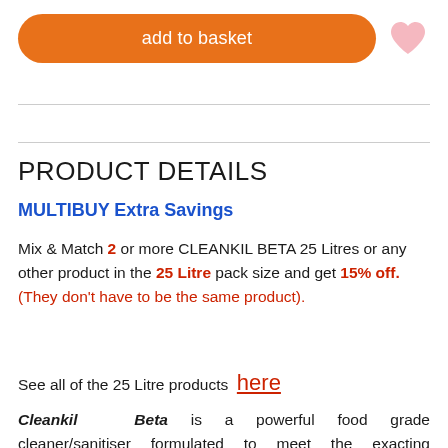add to basket
PRODUCT DETAILS
MULTIBUY Extra Savings
Mix & Match 2 or more CLEANKIL BETA 25 Litres or any other product in the 25 Litre pack size and get 15% off.  (They don't have to be the same product).
See all of the 25 Litre products here
Cleankil Beta is a powerful food grade cleaner/sanitiser formulated to meet the exacting hygiene requirements found within the food industry.